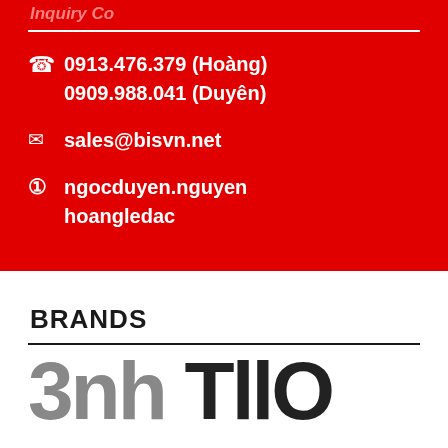Inquiry Co
0913.476.379 (Hoàng)
0909.988.041 (Duyên)
sales@bisvn.net
ngocduyen.nguyen
hoangledac
BRANDS
[Figure (logo): Partial logo text showing '3nh TllO' in large bold dark grey font]